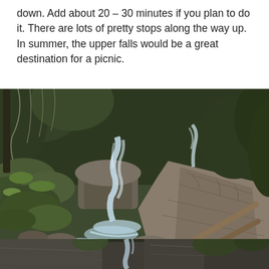down. Add about 20 – 30 minutes if you plan to do it. There are lots of pretty stops along the way up. In summer, the upper falls would be a great destination for a picnic.
[Figure (photo): A forest waterfall scene with cascading water over mossy rocks and a rocky trail path to the right, surrounded by dense forest with moss-covered stones and coniferous trees.]
Picturesque cascades all the way up to the Upper Troll Falls
[Figure (photo): Partial view of a rocky canyon or cliff face with forest vegetation, bottom portion of page.]